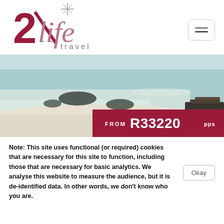[Figure (logo): 2life travel logo with star and diagonal slash graphic in red/maroon and grey tones]
[Figure (photo): Beach scene with turquoise water, white sand, and dark rocks/islands in background, with sun loungers visible at right edge. Price banner overlay reads FROM R33220 pps on dark red background.]
Note: This site uses functional (or required) cookies that are necessary for this site to function, including those that are necessary for basic analytics. We analyse this website to measure the audience, but it is de-identified data. In other words, we don't know who you are.